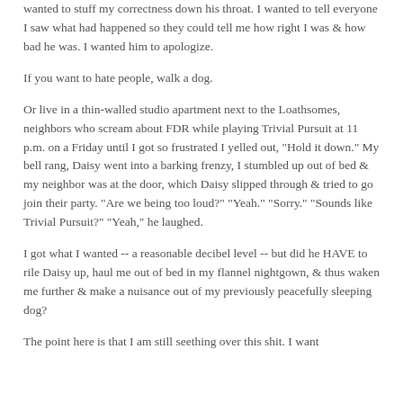wanted to stuff my correctness down his throat. I wanted to tell everyone I saw what had happened so they could tell me how right I was & how bad he was. I wanted him to apologize.
If you want to hate people, walk a dog.
Or live in a thin-walled studio apartment next to the Loathsomes, neighbors who scream about FDR while playing Trivial Pursuit at 11 p.m. on a Friday until I got so frustrated I yelled out, "Hold it down." My bell rang, Daisy went into a barking frenzy, I stumbled up out of bed & my neighbor was at the door, which Daisy slipped through & tried to go join their party. "Are we being too loud?" "Yeah." "Sorry." "Sounds like Trivial Pursuit?" "Yeah," he laughed.
I got what I wanted -- a reasonable decibel level -- but did he HAVE to rile Daisy up, haul me out of bed in my flannel nightgown, & thus waken me further & make a nuisance out of my previously peacefully sleeping dog?
The point here is that I am still seething over this shit. I want